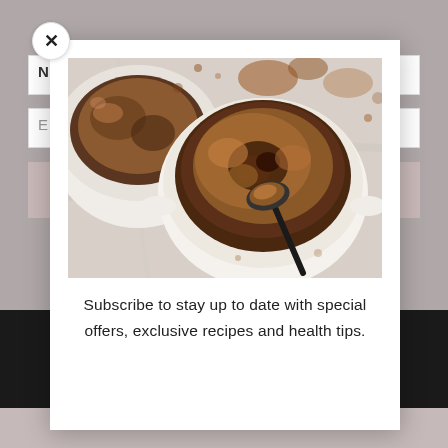[Figure (photo): Modal popup showing two white ramekins with chocolate lava cake/pudding with a spoon digging into one, set on a marble/light surface, viewed from above.]
Subscribe to stay up to date with special offers, exclusive recipes and health tips.